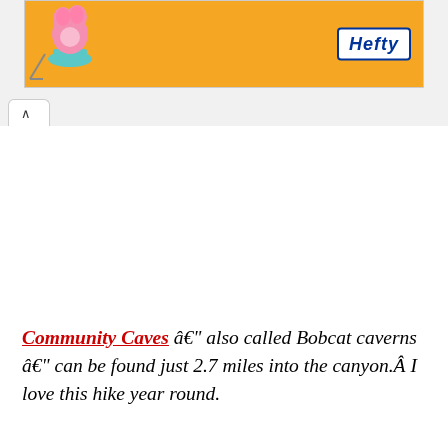[Figure (other): Hefty brand advertisement banner with orange background, cartoon character on the left and Hefty logo on the right]
Community Caves â€" also called Bobcat caverns â€" can be found just 2.7 miles into the canyon.Â  I love this hike year round.
Climbing to Community Caves in the winter can be a challenge.Â Â  You donâ€™t really need any rock climbing